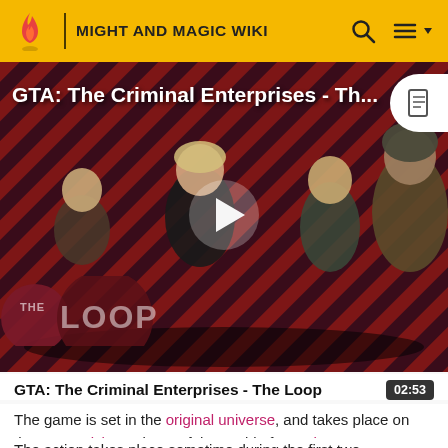MIGHT AND MAGIC WIKI
[Figure (screenshot): GTA: The Criminal Enterprises - The Loop video thumbnail with characters on red diagonal striped background and play button overlay. Shows 'THE LOOP' branding badge bottom-left.]
GTA: The Criminal Enterprises - The Loop
02:53
The game is set in the original universe, and takes place on the Antagarich continent of the world of Enroth.
The action takes place sometime during the first two